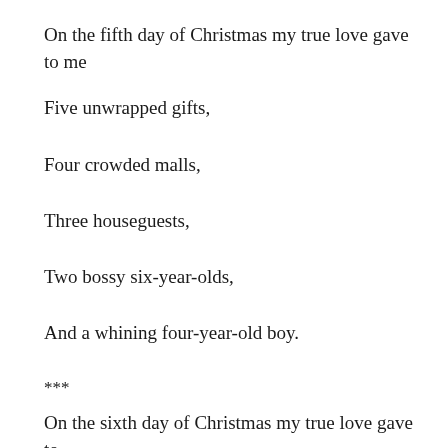On the fifth day of Christmas my true love gave to me
Five unwrapped gifts,
Four crowded malls,
Three houseguests,
Two bossy six-year-olds,
And a whining four-year-old boy.
***
On the sixth day of Christmas my true love gave to me